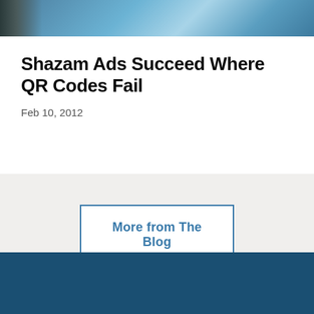[Figure (photo): Top portion of a blog article card showing a dark and blue-toned photograph (partial, cropped at top)]
Shazam Ads Succeed Where QR Codes Fail
Feb 10, 2012
More from The Blog
[Figure (other): Dark blue footer band at the bottom of the page]